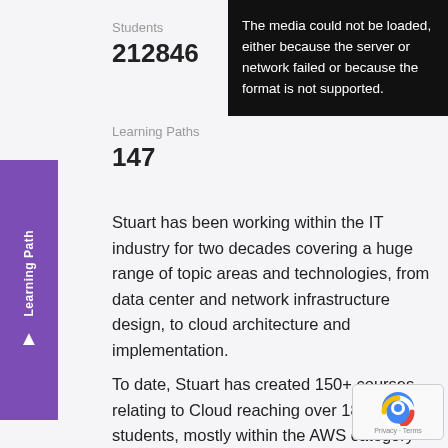Students
212846
Labs
1
[Figure (screenshot): Black error box: 'The media could not be loaded, either because the server or network failed or because the format is not supported.']
Learning Paths
147
Stuart has been working within the IT industry for two decades covering a huge range of topic areas and technologies, from data center and network infrastructure design, to cloud architecture and implementation.
To date, Stuart has created 150+ courses relating to Cloud reaching over 180,000 students, mostly within the AWS category and with a heavy focus security and compliance.
Stuart is a member of the AWS Communit...